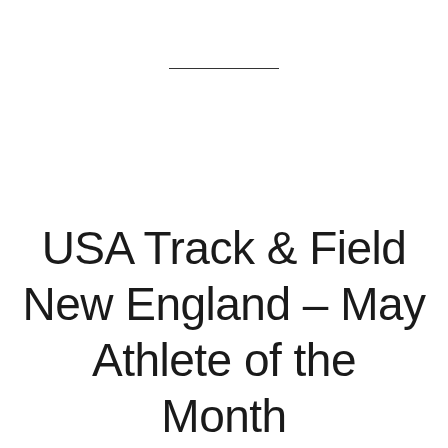USA Track & Field New England – May Athlete of the Month